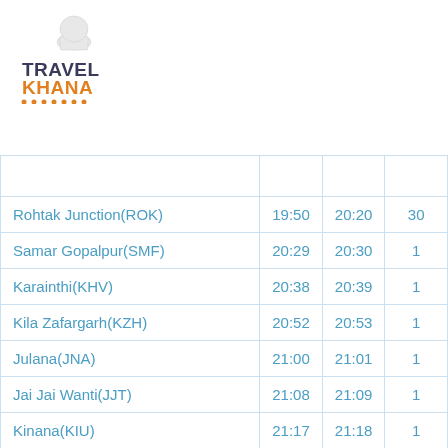[Figure (logo): TravelKhana logo with chef hat icon, TRAVEL in dark blue/grey and KHANA in orange, with orange dots underline]
| Station | Arrival | Departure | Halt |
| --- | --- | --- | --- |
| Rohtak Junction(ROK) | 19:50 | 20:20 | 30 |
| Samar Gopalpur(SMF) | 20:29 | 20:30 | 1 |
| Karainthi(KHV) | 20:38 | 20:39 | 1 |
| Kila Zafargarh(KZH) | 20:52 | 20:53 | 1 |
| Julana(JNA) | 21:00 | 21:01 | 1 |
| Jai Jai Wanti(JJT) | 21:08 | 21:09 | 1 |
| Kinana(KIU) | 21:17 | 21:18 | 1 |
| Bishanpura Haryana(BSPH) | 21:25 | 21:26 | 1 |
| Jind Junction(JIND) | 21:40 | 21:45 | 5 |
| ...(RTC) | 21:5x | 21:5x | 1 |